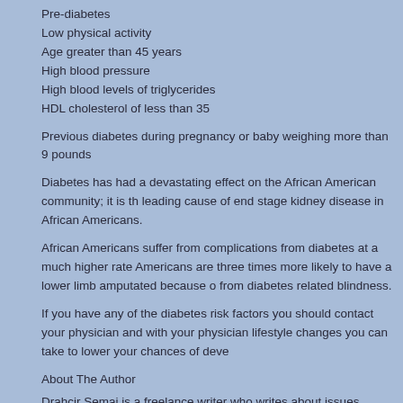Pre-diabetes
Low physical activity
Age greater than 45 years
High blood pressure
High blood levels of triglycerides
HDL cholesterol of less than 35
Previous diabetes during pregnancy or baby weighing more than 9 pounds
Diabetes has had a devastating effect on the African American community; it is the leading cause of end stage kidney disease in African Americans.
African Americans suffer from complications from diabetes at a much higher rate. African Americans are three times more likely to have a lower limb amputated because of diabetes and suffer from diabetes related blindness.
If you have any of the diabetes risk factors you should contact your physician and discuss with your physician lifestyle changes you can take to lower your chances of developing diabetes.
About The Author
Drahcir Semaj is a freelance writer who writes about issues affecting African Americans. drachir@drachirsemaj.com
MORE RESOURCES:
1
•